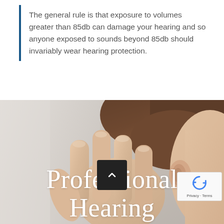The general rule is that exposure to volumes greater than 85db can damage your hearing and so anyone exposed to sounds beyond 85db should invariably wear hearing protection.
[Figure (photo): Close-up photo of a person cupping their hand behind their ear, suggesting hearing difficulty or listening carefully. Hair is visible in the upper portion. The image has warm skin tones against a light grey background.]
Professional Hearing